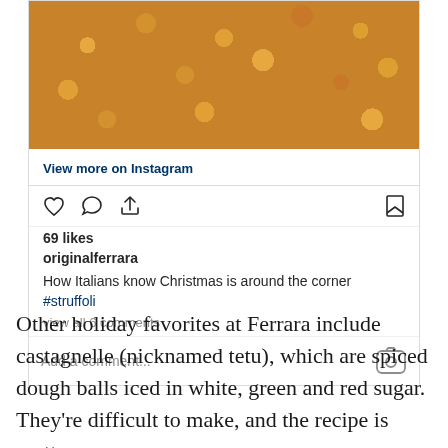[Figure (photo): Close-up photo of struffoli - small golden fried dough balls with colorful sprinkles on a lace doily]
View more on Instagram
69 likes
originalferrara
How Italians know Christmas is around the corner #struffoli
view all 6 comments
Add a comment...
Other holiday favorites at Ferrara include castagnelle (nicknamed tetu), which are spiced dough balls iced in white, green and red sugar. They're difficult to make, and the recipe is pretty